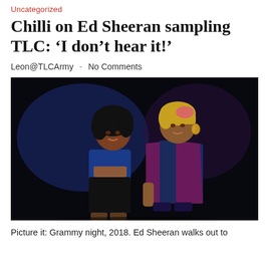Uncategorized
Chilli on Ed Sheeran sampling TLC: ‘I don’t hear it!’
Leon@TLCArmy  -  No Comments
[Figure (photo): Two women posing together against a dark background. The woman on the left wears a blue crop top and dark shorts with curly hair. The woman on the right has short blonde hair and wears a purple/burgundy blazer over a dark outfit.]
Picture it: Grammy night, 2018. Ed Sheeran walks out to